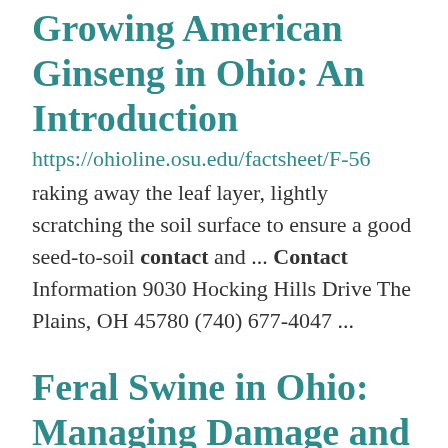Growing American Ginseng in Ohio: An Introduction
https://ohioline.osu.edu/factsheet/F-56
raking away the leaf layer, lightly scratching the soil surface to ensure a good seed-to-soil contact and ... Contact Information 9030 Hocking Hills Drive The Plains, OH 45780 (740) 677-4047 ...
Feral Swine in Ohio: Managing Damage and Conflicts
https://ohioline.osu.edu/factsheet/W-26
(1-800-945-3543) or wildinfo@dnr.state.oh.us. Landowners and hunters...